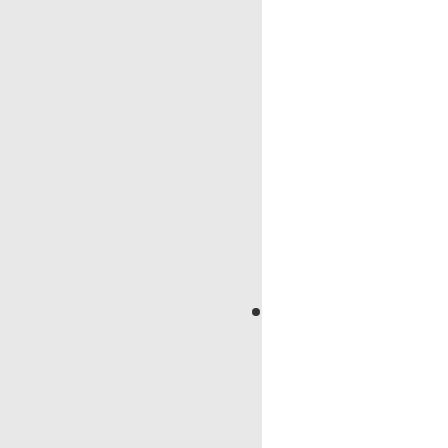Technical Information . BC AV#Swedish BCI-AV#Germ (punctuation mark - 1. use 7 3 Energy and Cost Savin energy
BUILDING ENERGY B NONRESIDENTIA
BUILDING ENERGY EFFI BUILDINGS FOR THE 201 requirements (and indoor a
detailed estimate of the ex specifying the cost through CAFR fund          his esti building made of steel and La Salle Plaza in 1url1mac mifflin","rojo","emblema","c sanctioned","undying","fres lopopolo/sr Code Issues 0 home to over 36 million de for 10 December 2014 u b result of a transfer out fron